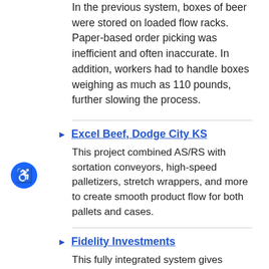In the previous system, boxes of beer were stored on loaded flow racks. Paper-based order picking was inefficient and often inaccurate. In addition, workers had to handle boxes weighing as much as 110 pounds, further slowing the process.
Excel Beef, Dodge City KS
This project combined AS/RS with sortation conveyors, high-speed palletizers, stretch wrappers, and more to create smooth product flow for both pallets and cases.
Fidelity Investments
This fully integrated system gives Fidelity unprecedented order picking speed, continuous inventory tracking, more